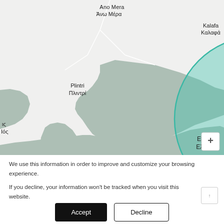[Figure (map): Map screenshot showing a Greek island area with place names: Ano Mera / Ανω Μέρα (top center), Kalafa / Καλαφά (top right), Plintri / Πλιντρί (left), Elia / Ελιά (center, inside a teal circular selection zone). The map has a light greenish-gray land area and white background for sea. A large teal semi-transparent circle is drawn over the Elia area.]
We use this information in order to improve and customize your browsing experience.
If you decline, your information won't be tracked when you visit this website.
Accept
Decline